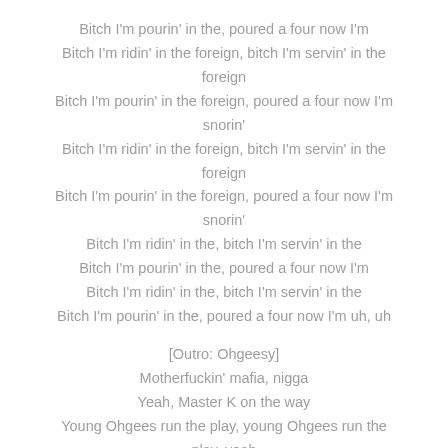Bitch I'm pourin' in the, poured a four now I'm
Bitch I'm ridin' in the foreign, bitch I'm servin' in the foreign
Bitch I'm pourin' in the foreign, poured a four now I'm snorin'
Bitch I'm ridin' in the foreign, bitch I'm servin' in the foreign
Bitch I'm pourin' in the foreign, poured a four now I'm snorin'
Bitch I'm ridin' in the, bitch I'm servin' in the
Bitch I'm pourin' in the, poured a four now I'm
Bitch I'm ridin' in the, bitch I'm servin' in the
Bitch I'm pourin' in the, poured a four now I'm uh, uh

[Outro: Ohgeesy]
Motherfuckin' mafia, nigga
Yeah, Master K on the way
Young Ohgees run the play, young Ohgees run the play, yeah